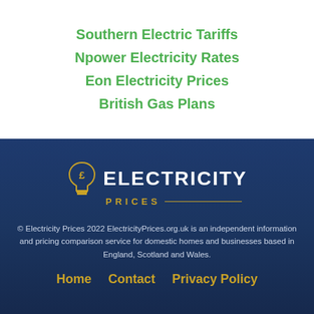Southern Electric Tariffs
Npower Electricity Rates
Eon Electricity Prices
British Gas Plans
[Figure (logo): Electricity Prices logo — lightbulb icon with pound sign, bold white ELECTRICITY text and gold PRICES text with decorative line]
© Electricity Prices 2022 ElectricityPrices.org.uk is an independent information and pricing comparison service for domestic homes and businesses based in England, Scotland and Wales.
Home   Contact   Privacy Policy